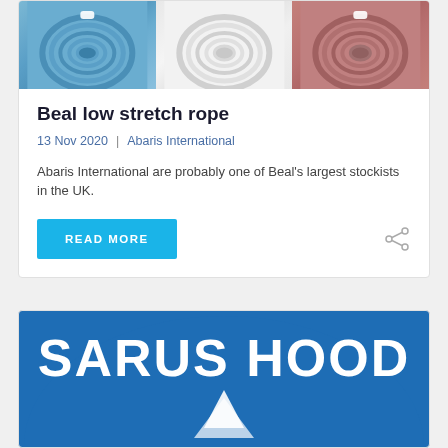[Figure (photo): Three coiled ropes side by side: blue, white, and red/pink colored climbing ropes]
Beal low stretch rope
13 Nov 2020  |  Abaris International
Abaris International are probably one of Beal's largest stockists in the UK.
READ MORE
[Figure (logo): Blue rounded rectangle card with white bold text 'SARUS HOOD' and a white mountain/hood graphic below]